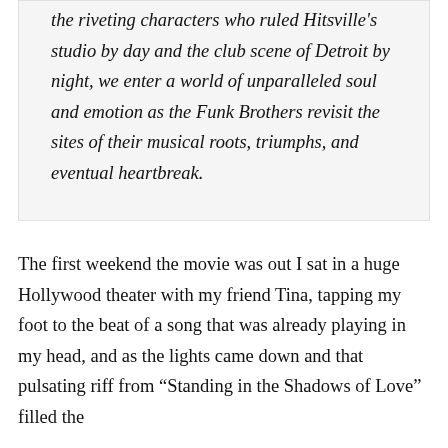the riveting characters who ruled Hitsville's studio by day and the club scene of Detroit by night, we enter a world of unparalleled soul and emotion as the Funk Brothers revisit the sites of their musical roots, triumphs, and eventual heartbreak.
The first weekend the movie was out I sat in a huge Hollywood theater with my friend Tina, tapping my foot to the beat of a song that was already playing in my head, and as the lights came down and that pulsating riff from “Standing in the Shadows of Love” filled the